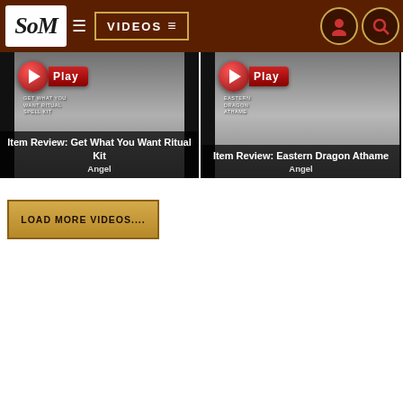SoM | VIDEOS
[Figure (screenshot): Video thumbnail for 'Item Review: Get What You Want Ritual Kit' by Angel, with red Play button overlay]
[Figure (screenshot): Video thumbnail for 'Item Review: Eastern Dragon Athame' by Angel, with red Play button overlay]
LOAD MORE VIDEOS....